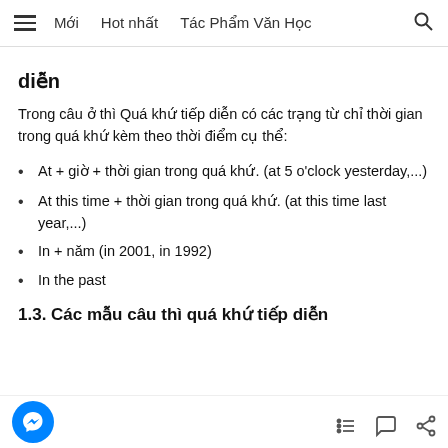Mới   Hot nhất   Tác Phẩm Văn Học
diễn
Trong câu ở thì Quá khứ tiếp diễn có các trạng từ chỉ thời gian trong quá khứ kèm theo thời điểm cụ thể:
At + giờ + thời gian trong quá khứ. (at 5 o'clock yesterday,...)
At this time + thời gian trong quá khứ. (at this time last year,...)
In + năm (in 2001, in 1992)
In the past
1.3. Các mẫu câu thì quá khứ tiếp diễn